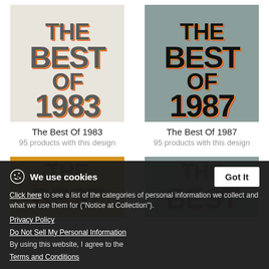[Figure (illustration): Product image showing retro text 'THE BEST OF 1983' on light beige background with colorful shadow effect]
The Best Of 1983
95 products with this design
[Figure (illustration): Product image showing retro text 'THE BEST OF 1987' on slate blue background with colorful shadow effect]
The Best Of 1987
95 products with this design
[Figure (illustration): Product image showing retro text 'THE BEST OF' on gold/yellow background, partially visible]
[Figure (illustration): Product image showing retro text 'THE BEST OF' on slate background, partially visible]
We use cookies
Click here to see a list of the categories of personal information we collect and what we use them for ("Notice at Collection").
Privacy Policy
Do Not Sell My Personal Information
By using this website, I agree to the Terms and Conditions